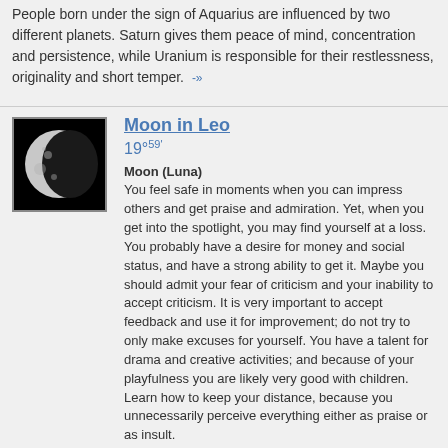People born under the sign of Aquarius are influenced by two different planets. Saturn gives them peace of mind, concentration and persistence, while Uranium is responsible for their restlessness, originality and short temper. -»
[Figure (photo): Moon image on black background]
Moon in Leo
19°59'
Moon (Luna)
You feel safe in moments when you can impress others and get praise and admiration. Yet, when you get into the spotlight, you may find yourself at a loss. You probably have a desire for money and social status, and have a strong ability to get it. Maybe you should admit your fear of criticism and your inability to accept criticism. It is very important to accept feedback and use it for improvement; do not try to only make excuses for yourself. You have a talent for drama and creative activities; and because of your playfulness you are likely very good with children. Learn how to keep your distance, because you unnecessarily perceive everything either as praise or as insult.
[Figure (illustration): Ascendant/Cancer astrological symbol on dark blue background]
Ascendant in Cancer
7°36'